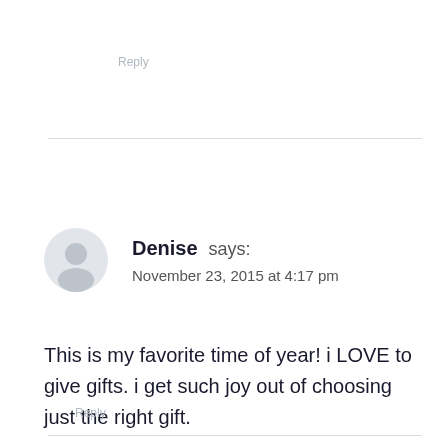Reply
Denise says:
November 23, 2015 at 4:17 pm
This is my favorite time of year! i LOVE to give gifts. i get such joy out of choosing just the right gift.
Reply